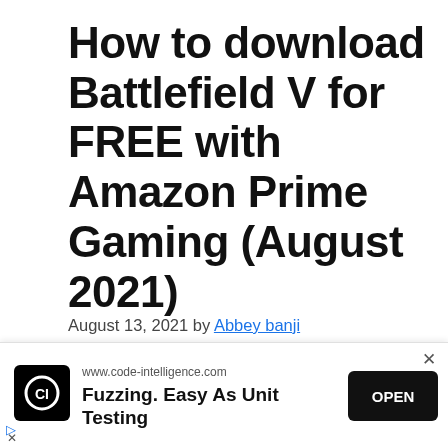How to download Battlefield V for FREE with Amazon Prime Gaming (August 2021)
August 13, 2021 by Abbey banji
[Figure (photo): Battlefield V Definitive Edition promotional image showing a soldier in dark atmospheric lighting with blue and pink tones, with text 'DEFINITIVE EDITION' overlaid.]
[Figure (infographic): Advertisement overlay: Code Intelligence ad with logo, URL www.code-intelligence.com, headline 'Fuzzing. Easy As Unit Testing', and OPEN button.]